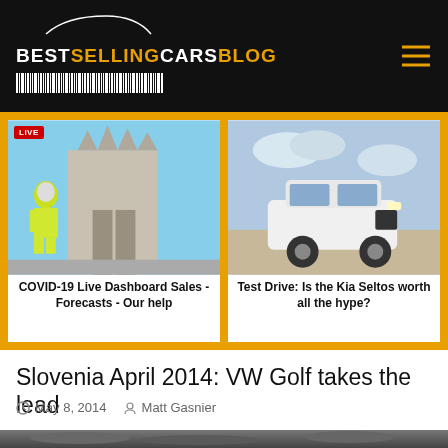BESTSELLINGCARSBLOG
[Figure (screenshot): Featured article card: COVID-19 Live Dashboard Sales - Forecasts - Our help. Shows worker in hazmat suit in front of Milan cathedral. Has LIVE badge.]
COVID-19 Live Dashboard Sales - Forecasts - Our help
[Figure (screenshot): Featured article card: Test Drive: Is the Kia Seltos worth all the hype? Shows white Kia Seltos SUV on beach road.]
Test Drive: Is the Kia Seltos worth all the hype?
Slovenia April 2014: VW Golf takes the lead
May 8, 2014   Matt Gasnier
[Figure (photo): Bottom partial image showing dark cloudy sky, partially cut off at bottom of page.]